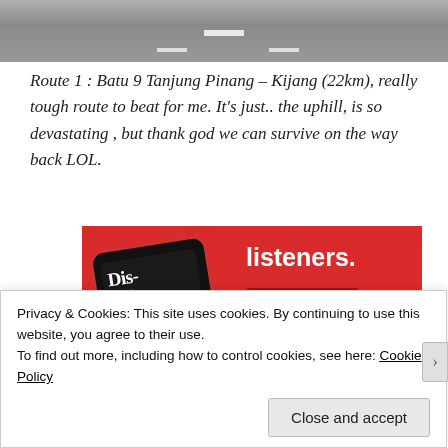[Figure (photo): Top portion of a road/highway photo showing asphalt with white lane markings]
Route 1 : Batu 9 Tanjung Pinang – Kijang (22km), really tough route to beat for me. It's just.. the uphill, is so devastating , but thank god we can survive on the way back LOL.
[Figure (photo): Advertisement banner on red background showing a podcast app called 'Distributed' on a smartphone, with text 'listeners.' and a 'Download now' button]
Privacy & Cookies: This site uses cookies. By continuing to use this website, you agree to their use.
To find out more, including how to control cookies, see here: Cookie Policy
Close and accept